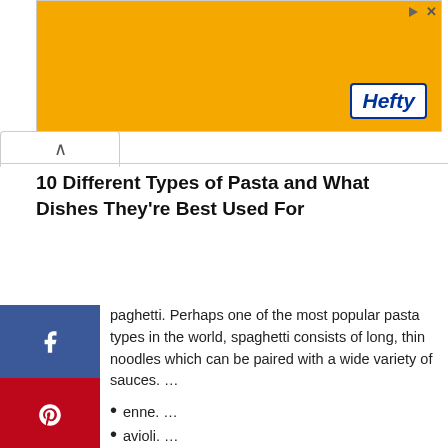[Figure (illustration): Hefty brand advertisement banner with orange background showing product imagery and Hefty logo]
10 Different Types of Pasta and What Dishes They're Best Used For
paghetti. Perhaps one of the most popular pasta types in the world, spaghetti consists of long, thin noodles which can be paired with a wide variety of sauces. …
enne. …
avioli. …
Linguine. …
Rigatoni. …
Farfalle. …
Fusilli. …
Cannelloni.